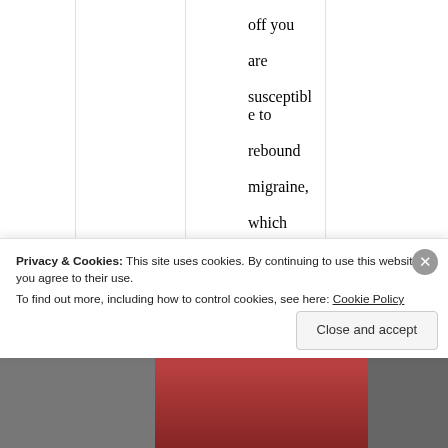off you are susceptible to rebound migraine, which sounds like the pressure you are
Privacy & Cookies: This site uses cookies. By continuing to use this website, you agree to their use. To find out more, including how to control cookies, see here: Cookie Policy
Close and accept
[Figure (photo): Bottom strip showing a partial photo, appears reddish/dark, likely a person's image]